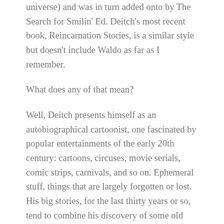universe) and was in turn added onto by The Search for Smilin' Ed. Deitch's most recent book, Reincarnation Stories, is a similar style but doesn't include Waldo as far as I remember.
What does any of that mean?
Well, Deitch presents himself as an autobiographical cartoonist, one fascinated by popular entertainments of the early 20th century: cartoons, circuses, movie serials, comic strips, carnivals, and so on. Ephemeral stuff, things that are largely forgotten or lost. His big stories, for the last thirty years or so, tend to combine his discovery of some old piece of entertainment with a retelling of that old story – or the circumstances surrounding those people, or a complicated combination of the two. We get comics pages of Deitch talking to the reader directly, about the things he's discovered, and pages of him doing things in his life,